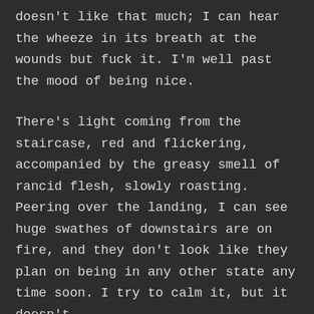doesn't like that much; I can hear the wheeze in its breath at the wounds but fuck it. I'm well past the mood of being nice.
There's light coming from the staircase, red and flickering, accompanied by the greasy smell of rancid flesh, slowly roasting. Peering over the landing, I can see huge swathes of downstairs are on fire, and they don't look like they plan on being in any other state any time soon. I try to calm it, but it doesn't